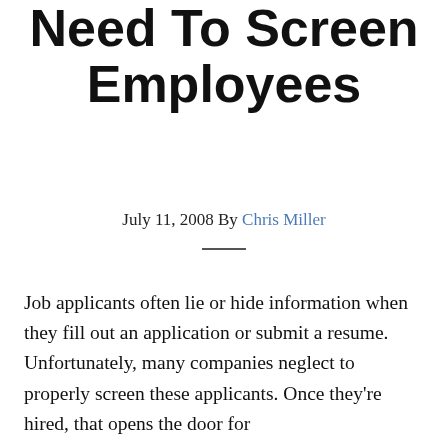…Reasons You Need To Screen Employees
July 11, 2008 By Chris Miller
Job applicants often lie or hide information when they fill out an application or submit a resume. Unfortunately, many companies neglect to properly screen these applicants. Once they're hired, that opens the door for …